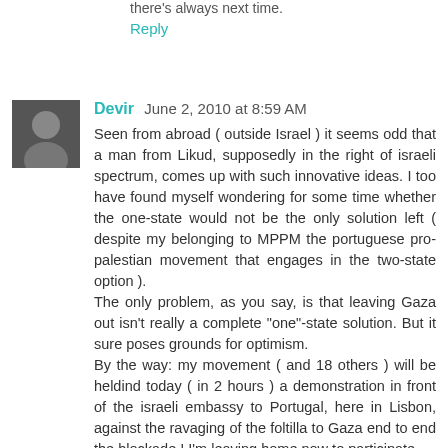there's always next time.
Reply
Devir  June 2, 2010 at 8:59 AM
Seen from abroad ( outside Israel ) it seems odd that a man from Likud, supposedly in the right of israeli spectrum, comes up with such innovative ideas. I too have found myself wondering for some time whether the one-state would not be the only solution left ( despite my belonging to MPPM the portuguese pro-palestian movement that engages in the two-state option ).
The only problem, as you say, is that leaving Gaza out isn't really a complete "one"-state solution. But it sure poses grounds for optimism.
By the way: my movement ( and 18 others ) will be heldind today ( in 2 hours ) a demonstration in front of the israeli embassy to Portugal, here in Lisbon, against the ravaging of the foltilla to Gaza end to end the blockade ! I'm leaving home now to participate.
Reply